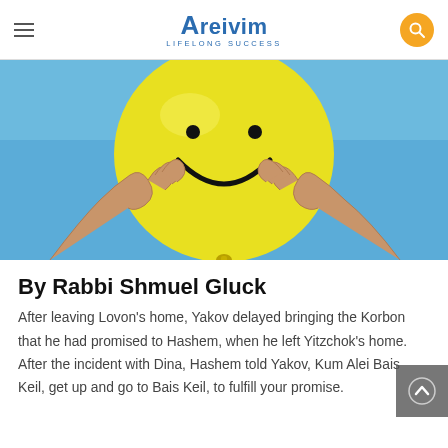Areivim LIFELONG SUCCESS
[Figure (photo): Hands holding up a large yellow smiley-face balloon against a blue sky]
By Rabbi Shmuel Gluck
After leaving Lovon's home, Yakov delayed bringing the Korbon that he had promised to Hashem, when he left Yitzchok's home. After the incident with Dina, Hashem told Yakov, Kum Alei Bais Keil, get up and go to Bais Keil, to fulfill your promise.